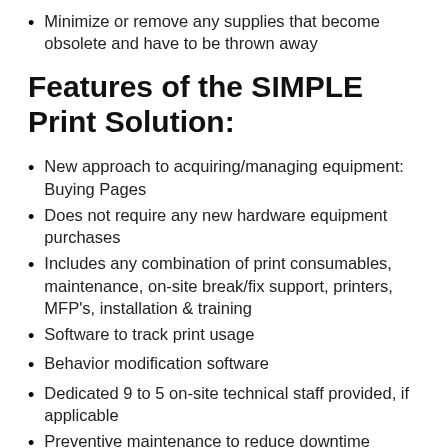Minimize or remove any supplies that become obsolete and have to be thrown away
Features of the SIMPLE Print Solution:
New approach to acquiring/managing equipment: Buying Pages
Does not require any new hardware equipment purchases
Includes any combination of print consumables, maintenance, on-site break/fix support, printers, MFP's, installation & training
Software to track print usage
Behavior modification software
Dedicated 9 to 5 on-site technical staff provided, if applicable
Preventive maintenance to reduce downtime
One monthly invoice, one supplier, one budget